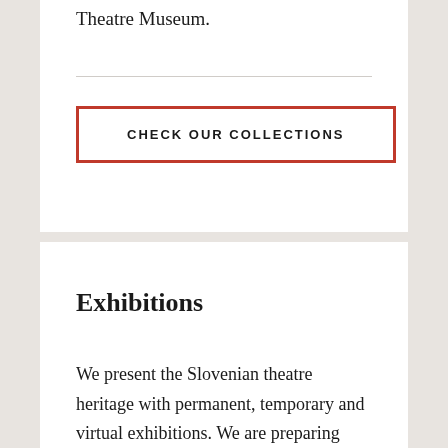Theatre Museum.
CHECK OUR COLLECTIONS
Exhibitions
We present the Slovenian theatre heritage with permanent, temporary and virtual exhibitions. We are preparing exhibitions ourselves or in cooperation with national and international partners.